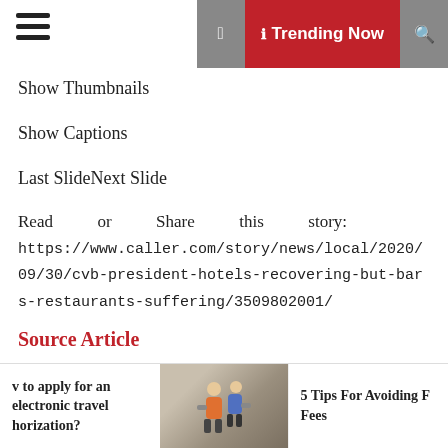Trending Now
Show Thumbnails
Show Captions
Last SlideNext Slide
Read or Share this story: https://www.caller.com/story/news/local/2020/09/30/cvb-president-hotels-recovering-but-bars-restaurants-suffering/3509802001/
Source Article
Posted in Hotel
Tagged # Bars # Hotels # recovering # restaurants # suffering
v to apply for an electronic travel horization?
5 Tips For Avoiding F Fees